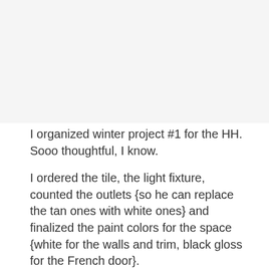[Figure (photo): Faded/blank image area at the top of the page]
I organized winter project #1 for the HH. Sooo thoughtful, I know.
I ordered the tile, the light fixture, counted the outlets {so he can replace the tan ones with white ones} and finalized the paint colors for the space {white for the walls and trim, black gloss for the French door}.